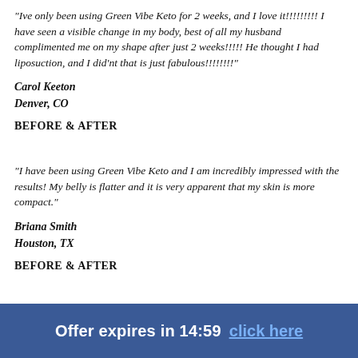"Ive only been using Green Vibe Keto for 2 weeks, and I love it!!!!!!!!! I have seen a visible change in my body, best of all my husband complimented me on my shape after just 2 weeks!!!!! He thought I had liposuction, and I did'nt that is just fabulous!!!!!!!!"
Carol Keeton
Denver, CO
BEFORE & AFTER
"I have been using Green Vibe Keto and I am incredibly impressed with the results! My belly is flatter and it is very apparent that my skin is more compact."
Briana Smith
Houston, TX
BEFORE & AFTER
Offer expires in 14:59  click here